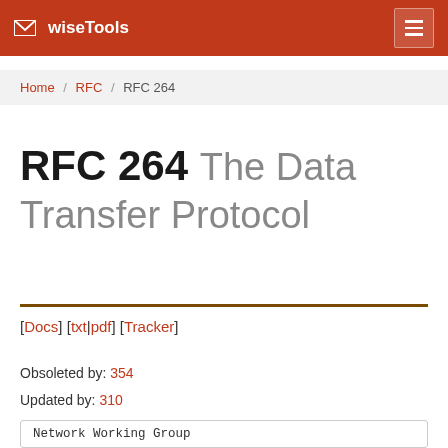wiseTools
Home / RFC / RFC 264
RFC 264 The Data Transfer Protocol
[Docs] [txt|pdf] [Tracker]
Obsoleted by: 354
Updated by: 310
Network Working Group